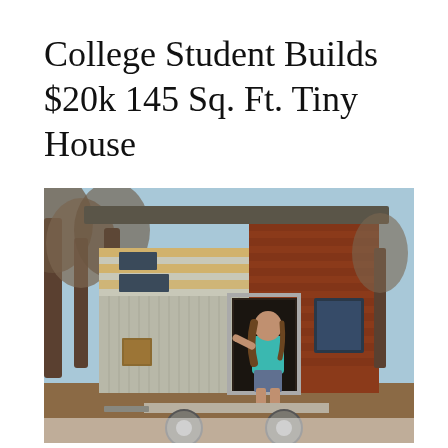College Student Builds $20k 145 Sq. Ft. Tiny House
[Figure (photo): A young person with long hair wearing a teal/turquoise t-shirt and board shorts stands in the open doorway of a small modern tiny house on a trailer. The house has mixed siding: light gray corrugated metal on the front-left side and warm reddish-brown cedar wood on the right side, with horizontal wood accent strips and small rectangular windows near the roofline. Bare winter trees and a blue sky are visible in the background.]